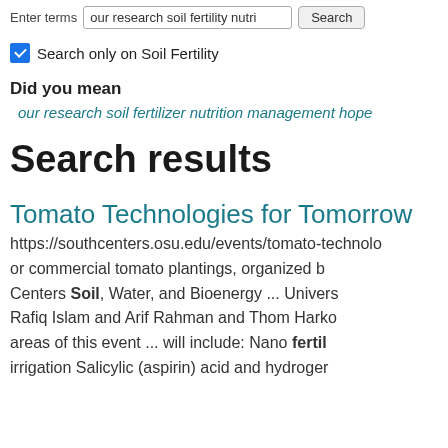Enter terms: our research soil fertility nutri [Search]
Search only on Soil Fertility
Did you mean
our research soil fertilizer nutrition management hope
Search results
Tomato Technologies for Tomorrow
https://southcenters.osu.edu/events/tomato-technolo... or commercial tomato plantings, organized b... Centers Soil, Water, and Bioenergy ... Univers... Rafiq Islam and Arif Rahman and Thom Harko... areas of this event ... will include: Nano fertil... irrigation Salicylic (aspirin) acid and hydrogen...